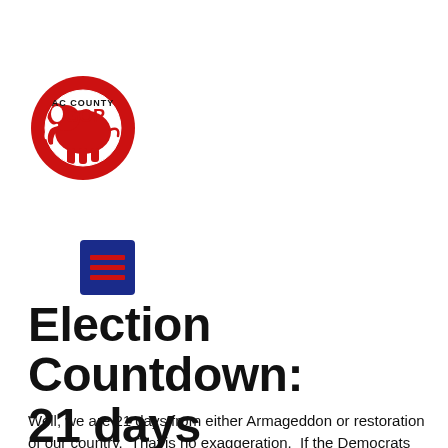[Figure (logo): AC County GOP logo: red circular ring shape with stylized elephant silhouette cutout, text 'AC COUNTY' above 'GOP' in bold black and red letters inside the circle]
[Figure (other): Blue square button with three red horizontal lines (hamburger/menu icon)]
Election Countdown: 21 days
Well, we are 21 days from either Armageddon or restoration of our country.  That is no exaggeration.  If the Democrats win we'll lose. If the Republicans win America wins.